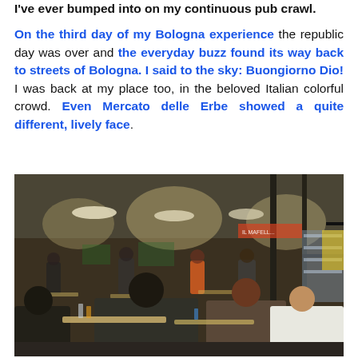I've ever bumped into on my continuous pub crawl. On the third day of my Bologna experience the republic day was over and the everyday buzz found its way back to streets of Bologna. I said to the sky: Buongiorno Dio! I was back at my place too, in the beloved Italian colorful crowd. Even Mercato delle Erbe showed a quite different, lively face.
[Figure (photo): Interior of Mercato delle Erbe in Bologna, showing a lively market scene with people seated at tables eating and socializing. The image shows a busy indoor market hall with hanging lights, market stalls in the background, and a crowd of people.]